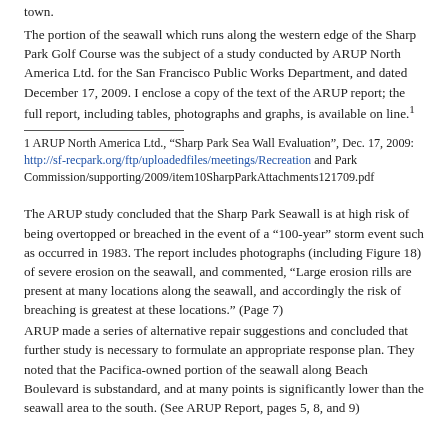town.
The portion of the seawall which runs along the western edge of the Sharp Park Golf Course was the subject of a study conducted by ARUP North America Ltd. for the San Francisco Public Works Department, and dated December 17, 2009. I enclose a copy of the text of the ARUP report; the full report, including tables, photographs and graphs, is available on line.1
1 ARUP North America Ltd., “Sharp Park Sea Wall Evaluation”, Dec. 17, 2009: http://sf-recpark.org/ftp/uploadedfiles/meetings/Recreation and Park Commission/supporting/2009/item10SharpParkAttachments121709.pdf
The ARUP study concluded that the Sharp Park Seawall is at high risk of being overtopped or breached in the event of a “100-year” storm event such as occurred in 1983. The report includes photographs (including Figure 18) of severe erosion on the seawall, and commented, “Large erosion rills are present at many locations along the seawall, and accordingly the risk of breaching is greatest at these locations.” (Page 7)
ARUP made a series of alternative repair suggestions and concluded that further study is necessary to formulate an appropriate response plan. They noted that the Pacifica-owned portion of the seawall along Beach Boulevard is substandard, and at many points is significantly lower than the seawall area to the south. (See ARUP Report, pages 5, 8, and 9)